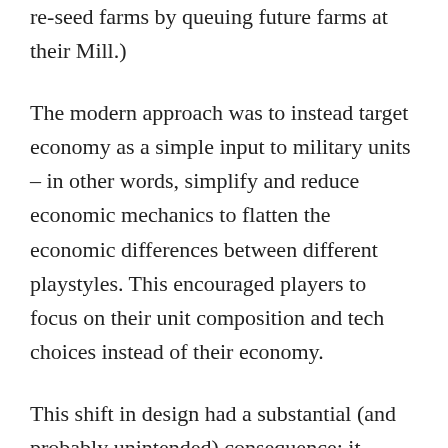re-seed farms by queuing future farms at their Mill.)
The modern approach was to instead target economy as a simple input to military units – in other words, simplify and reduce economic mechanics to flatten the economic differences between different playstyles. This encouraged players to focus on their unit composition and tech choices instead of their economy.
This shift in design had a substantial (and probably unintended) consequence: it fundamentally altered the dynamics around